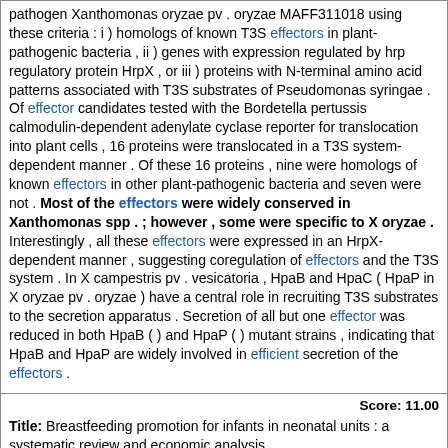pathogen Xanthomonas oryzae pv . oryzae MAFF311018 using these criteria : i ) homologs of known T3S effectors in plant-pathogenic bacteria , ii ) genes with expression regulated by hrp regulatory protein HrpX , or iii ) proteins with N-terminal amino acid patterns associated with T3S substrates of Pseudomonas syringae . Of effector candidates tested with the Bordetella pertussis calmodulin-dependent adenylate cyclase reporter for translocation into plant cells , 16 proteins were translocated in a T3S system-dependent manner . Of these 16 proteins , nine were homologs of known effectors in other plant-pathogenic bacteria and seven were not . Most of the effectors were widely conserved in Xanthomonas spp . ; however , some were specific to X oryzae . Interestingly , all these effectors were expressed in an HrpX-dependent manner , suggesting coregulation of effectors and the T3S system . In X campestris pv . vesicatoria , HpaB and HpaC ( HpaP in X oryzae pv . oryzae ) have a central role in recruiting T3S substrates to the secretion apparatus . Secretion of all but one effector was reduced in both HpaB ( ) and HpaP ( ) mutant strains , indicating that HpaB and HpaP are widely involved in efficient secretion of the effectors .
Score: 11.00
Title: Breastfeeding promotion for infants in neonatal units : a systematic review and economic analysis .
Author: Renfrew MJ Craig D Dyson L McCormick F Rice S King SE Misso K Stenhouse E Williams AF
Journal: Health Technol Assess Citation: V : 13 P : 1-146 , iii-iv
Literature: oryza Field: abstract Doc ID: pub19728934
Abstract: OBJECTIVES : To evaluate the effectiveness and cost-effectiveness of interventions that promote or inhibit breastfeeding or feeding with breast milk for infants admitted to neonatal units , and to